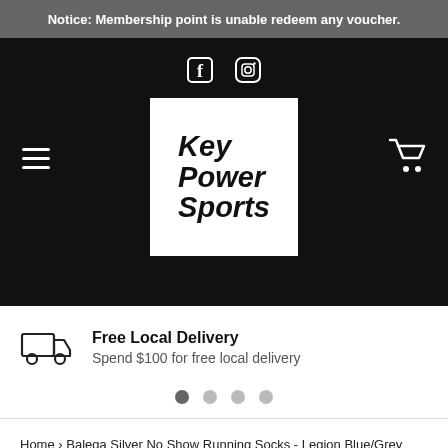Notice: Membership point is unable redeem any voucher.
[Figure (screenshot): Key Power Sports website header with black background showing social media icons (Facebook, Instagram), hamburger menu, shopping cart icon, and the Key Power Sports logo in a white box.]
Free Local Delivery
Spend $100 for free local delivery
Home › Balega Silver No Show Running Socks - Legion Blue/Grey